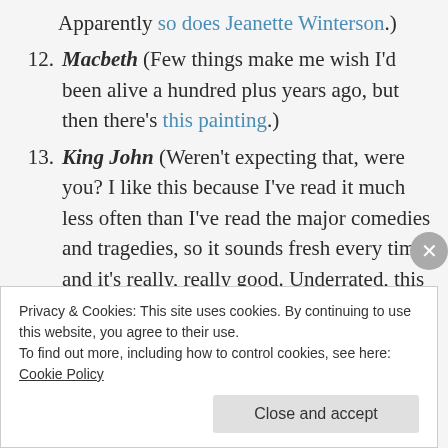Apparently so does Jeanette Winterson.)
12. Macbeth (Few things make me wish I’d been alive a hundred plus years ago, but then there’s this painting.)
13. King John (Weren’t expecting that, were you? I like this because I’ve read it much less often than I’ve read the major comedies and tragedies, so it sounds fresh every time, and it’s really, really good. Underrated, this one.)
14. The Taming of the Shrew (Funny and
Privacy & Cookies: This site uses cookies. By continuing to use this website, you agree to their use.
To find out more, including how to control cookies, see here:
Cookie Policy
Close and accept